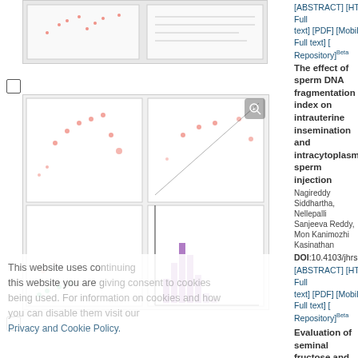[Figure (screenshot): Partially visible scientific figure thumbnail at top (flow cytometry scatter plots)]
[Figure (screenshot): Scientific figure thumbnail showing flow cytometry scatter plots with red/green/blue colored dot plots in 2x2 grid and a histogram]
[ABSTRACT] [HTML Full text] [PDF] [Mobile Full text] [Repository]Beta
The effect of sperm DNA fragmentation index on intrauterine insemination and intracytoplasmic sperm injection
Nagireddy Siddhartha, Nellepalli Sanjeeva Reddy, Mon... Kanimozhi Kasinathan
DOI:10.4103/jhrs.JHRS_22_19  PMID:31576075
[ABSTRACT] [HTML Full text] [PDF] [Mobile Full text] [Repository]Beta
Evaluation of seminal fructose and citric acid...
Makhadumsab M Toragall, Sanat K Satapathy, Girish G Ka...
DOI:10.4103/jhrs.JHRS_155_18  PMID:31576076
[ABSTRACT] [HTML Full text] [PDF] [Mobile Full text] [Repository]Beta
Role of oxidative stress and antioxidants in m...
Ganeswar Barik, Latha Chaturvedula, Zachariah Bobby
DOI:10.4103/jhrs.JHRS_135_18  PMID:31576077
[ABSTRACT] [HTML Full text] [PDF] [Mobile Full text] [Repository]Beta
Are we justified doing routine intracytoplasmic sperm injection? A retrospective study comparing reproductive outcomes of intracytoplasmic sperm injection in nonmale f...
Reeta Biliangady, Poornima Kinila, Rubina Pandit, Nuta... Gopal, Ambika G Swamy
This website uses cookies. By continuing to use this website you are giving consent to cookies being used. For information on cookies and how you can disable them visit our Privacy and Cookie Policy.
[Figure (bar-chart): Bar chart thumbnail showing grouped bars in orange and blue colors across multiple categories]
AGREE & PROCEED